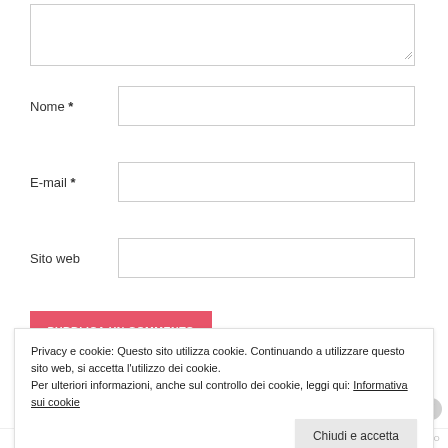[Figure (screenshot): A web comment form with a textarea at the top (partially visible), followed by three labeled input fields: Nome *, E-mail *, Sito web. A pink/red submit button labeled PUBBLICA UN COMMENTO. A cookie notice overlay at the bottom with text about cookie usage and a Chiudi e accetta button.]
Nome *
E-mail *
Sito web
PUBBLICA UN COMMENTO
Privacy e cookie: Questo sito utilizza cookie. Continuando a utilizzare questo sito web, si accetta l'utilizzo dei cookie.
Per ulteriori informazioni, anche sul controllo dei cookie, leggi qui: Informativa sui cookie
Chiudi e accetta